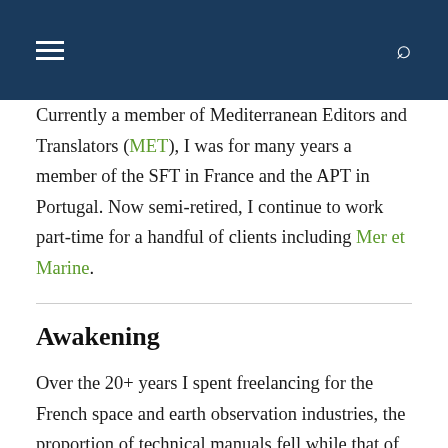≡  🔍
Currently a member of Mediterranean Editors and Translators (MET), I was for many years a member of the SFT in France and the APT in Portugal. Now semi-retired, I continue to work part-time for a handful of clients including Mer et Marine.
Awakening
Over the 20+ years I spent freelancing for the French space and earth observation industries, the proportion of technical manuals fell while that of technical journalism rose. During that time, I came to the realization that when a French client